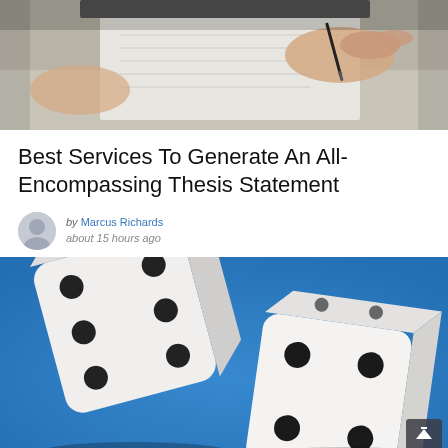[Figure (photo): Close-up of hands writing on paper with a pen, on a desk]
Best Services To Generate An All-Encompassing Thesis Statement
by Marcus Richards about 15 hours ago
[Figure (photo): Two white dice on a bright blue background]